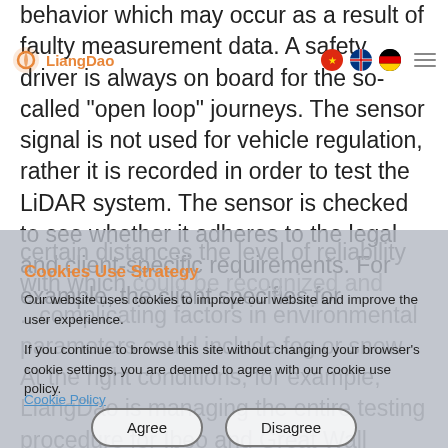LiangDao navigation logo and language/menu controls
behavior which may occur as a result of faulty measurement data. A safety driver is always on board for the so-called “open loop” journeys. The sensor signal is not used for vehicle regulation, rather it is recorded in order to test the LiDAR system. The sensor is checked to see whether it adheres to the legal and client-specific requirements. For example, the client specifies for certain distances the level of reliability with which
...could be recognized and ...complicating factors in environmental parameters could include fog or snow. At the right conditions, for example, LiangDao is managing the entire testing procedure for Ibeo and Great Wall Motor.
Cookies Use Strategy
Our website uses cookies to improve our website and improve the user experience.
If you continue to browse this site without changing your browser’s cookie settings, you are deemed to agree with our cookie use policy.
Cookie Policy
Agree
Disagree